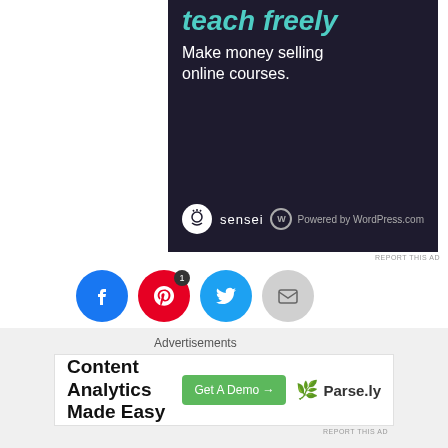[Figure (screenshot): Sensei online course platform advertisement with dark navy background, teal italic text 'teach freely', white subtitle 'Make money selling online courses.', sensei logo, and Powered by WordPress.com]
REPORT THIS AD
[Figure (infographic): Social sharing buttons: Facebook (blue circle), Pinterest (red circle with badge '1'), Twitter (cyan circle), Email (gray circle)]
[Figure (infographic): Like button with star icon and two blogger avatar thumbnails]
2 bloggers like this.
[Figure (screenshot): Content Analytics Made Easy advertisement with Get A Demo button and Parse.ly logo]
REPORT THIS AD